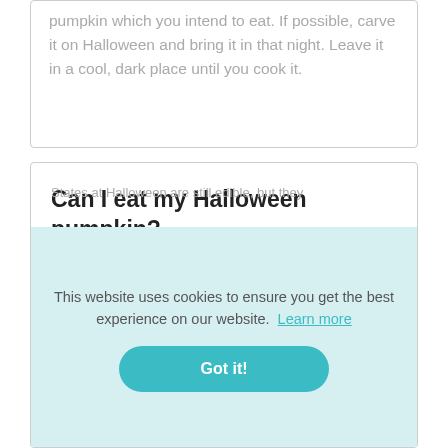pumpkin which you intend to eat. If possible, carve it on Halloween and bring it in that night. Leave it in a cool, dark place until you cook it.
Can I eat my Halloween pumpkin?
This website uses cookies to ensure you get the best experience on our website. Learn more
Got it!
States at Halloween are still edible, but they